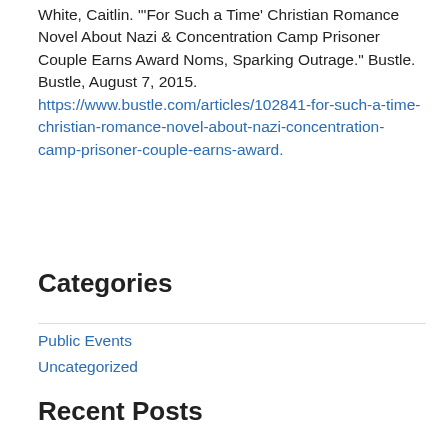White, Caitlin. "'For Such a Time' Christian Romance Novel About Nazi & Concentration Camp Prisoner Couple Earns Award Noms, Sparking Outrage." Bustle. Bustle, August 7, 2015. https://www.bustle.com/articles/102841-for-such-a-time-christian-romance-novel-about-nazi-concentration-camp-prisoner-couple-earns-award.
Categories
Public Events
Uncategorized
Recent Posts